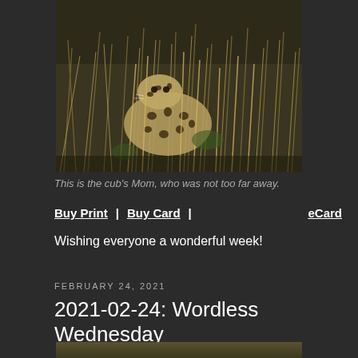[Figure (photo): A leopard partially hidden in tall dry grass, camouflaged among the grasses.]
This is the cub's Mom, who was not too far away.
Buy Print  |  Buy Card  |                              eCard
Wishing everyone a wonderful week!
FEBRUARY 24, 2021
2021-02-24: Wordless Wednesday
[Figure (photo): Partial view of another wildlife photo at the bottom of the page, cut off.]